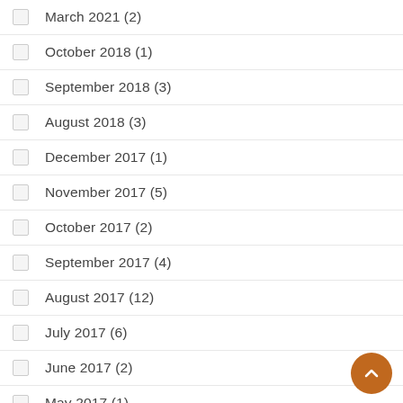March 2021 (2)
October 2018 (1)
September 2018 (3)
August 2018 (3)
December 2017 (1)
November 2017 (5)
October 2017 (2)
September 2017 (4)
August 2017 (12)
July 2017 (6)
June 2017 (2)
May 2017 (1)
April 2017 (2)
March 2017 (5)